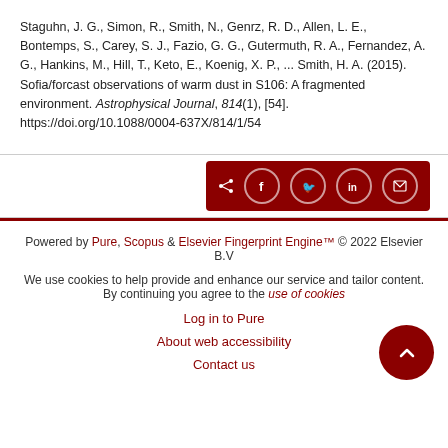Staguhn, J. G., Simon, R., Smith, N., Genrz, R. D., Allen, L. E., Bontemps, S., Carey, S. J., Fazio, G. G., Gutermuth, R. A., Fernandez, A. G., Hankins, M., Hill, T., Keto, E., Koenig, X. P., ... Smith, H. A. (2015). Sofia/forcast observations of warm dust in S106: A fragmented environment. Astrophysical Journal, 814(1), [54]. https://doi.org/10.1088/0004-637X/814/1/54
[Figure (other): Share bar with social media icons for share, Facebook, Twitter, LinkedIn, and email on dark red background]
Powered by Pure, Scopus & Elsevier Fingerprint Engine™ © 2022 Elsevier B.V
We use cookies to help provide and enhance our service and tailor content. By continuing you agree to the use of cookies
Log in to Pure
About web accessibility
Contact us